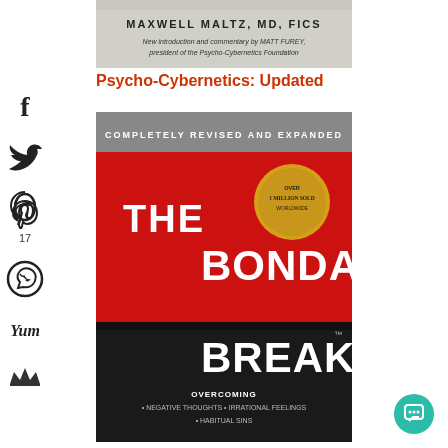[Figure (photo): Top portion of a book cover - Psycho-Cybernetics with author and subtitle text]
Psycho-Cybernetics: Updated
[Figure (photo): Book cover of 'The Bondage Breaker' - Completely Revised and Expanded, with red and black design, gold seal over 1 million sold, subtitle: Overcoming Negative Thoughts, Irrational Feelings, Habitual Sins]
[Figure (infographic): Social sharing sidebar with icons for Facebook, Twitter, Pinterest (17), WhatsApp, Yummly, and a crown/email share icon]